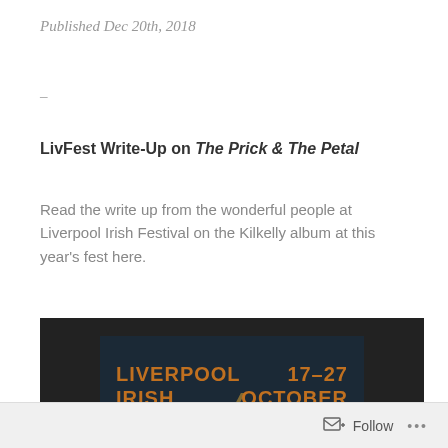Published Dec 20th, 2018
–
LivFest Write-Up on The Prick & The Petal
Read the write up from the wonderful people at Liverpool Irish Festival on the Kilkelly album at this year's fest here.
[Figure (photo): Liverpool Irish Festival promotional image showing text 'LIVERPOOL IRISH FESTIVAL' on the left and '17–27 OCTOBER' on the right, with '2019' at the bottom, dark background with orange/gold text.]
Follow ...